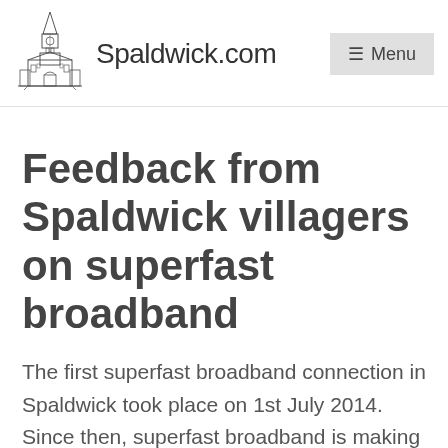Spaldwick.com  ☰ Menu
Feedback from Spaldwick villagers on superfast broadband
The first superfast broadband connection in Spaldwick took place on 1st July 2014. Since then, superfast broadband is making a considerable difference to residents and businesses in Spaldwick. If you haven't subscribed to superfast broadband yet,